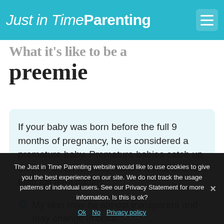Just in Time Parenting
What it's like to be a preemie
If your baby was born before the full 9 months of pregnancy, he is considered a premature baby. Premature babies catch up on their development, but are a little different than full term babies.
My skin may be almost transparent and may change in color.
The Just in Time Parenting website would like to use cookies to give you the best experience on our site. We do not track the usage patterns of individual users. See our Privacy Statement for more information. Is this is ok?